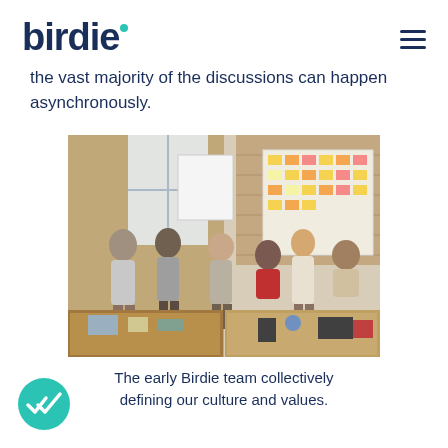birdie
the vast majority of the discussions can happen asynchronously.
[Figure (photo): Group of people standing and sitting in an office workspace with sticky notes on the wall, whiteboards, and a table with items on it.]
The early Birdie team collectively defining our culture and values.